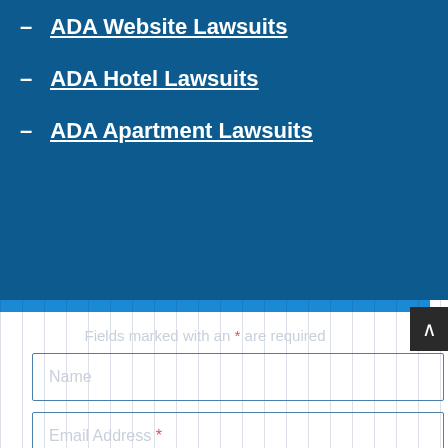ADA Website Lawsuits
ADA Hotel Lawsuits
ADA Apartment Lawsuits
Fields marked with an * are required
Name
Email Address *